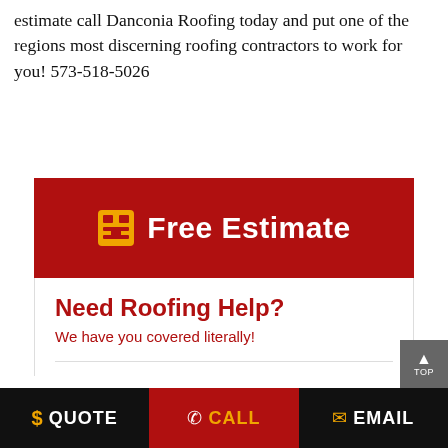estimate call Danconia Roofing today and put one of the regions most discerning roofing contractors to work for you! 573-518-5026
[Figure (infographic): Red banner with calculator icon and 'Free Estimate' text in white, followed by white section with 'Need Roofing Help?' heading in red and 'We have you covered literally!' subtext in red]
$ QUOTE  / CALL  EMAIL  TOP